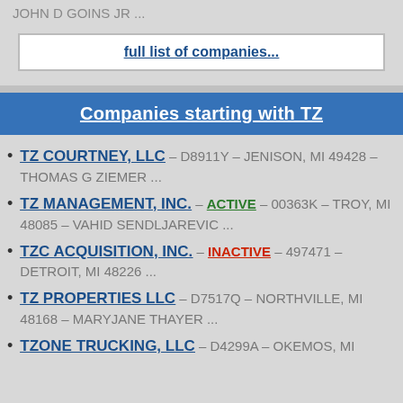JOHN D GOINS JR ...
full list of companies...
Companies starting with TZ
TZ COURTNEY, LLC – D8911Y – JENISON, MI 49428 – THOMAS G ZIEMER ...
TZ MANAGEMENT, INC. – ACTIVE – 00363K – TROY, MI 48085 – VAHID SENDLJAREVIC ...
TZC ACQUISITION, INC. – INACTIVE – 497471 – DETROIT, MI 48226 ...
TZ PROPERTIES LLC – D7517Q – NORTHVILLE, MI 48168 – MARYJANE THAYER ...
TZONE TRUCKING, LLC – D4299A – OKEMOS, MI